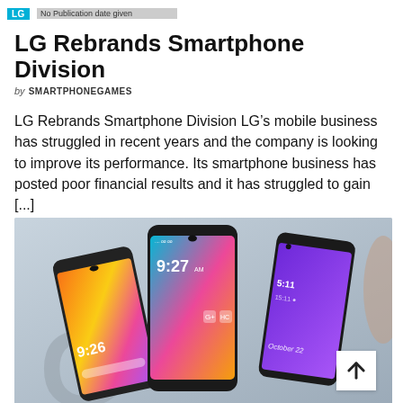LG | [date/category header]
LG Rebrands Smartphone Division
by SMARTPHONEGAMES
LG Rebrands Smartphone Division LG’s mobile business has struggled in recent years and the company is looking to improve its performance. Its smartphone business has posted poor financial results and it has struggled to gain [...]
[Figure (photo): Three LG smartphones displayed together, showing colorful screens with the LG logo visible at the bottom left. One phone shows time 9:26, center phone shows time 9:27, right phone shows a purple screen with October 22 date. A scroll-to-top arrow button is visible in the lower right corner.]